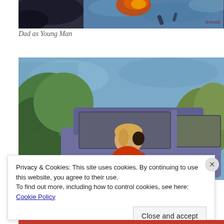[Figure (photo): Top portion of an oil painting showing a dark background with blue tones and an orange/yellow flame or shape, signed 'Schmidt' in dark red at lower right]
Dad as Young Man
[Figure (photo): Oil painting of a young blonde child in a red/orange shirt sitting inside or near an old car, with green foliage and blue sky in background]
Privacy & Cookies: This site uses cookies. By continuing to use this website, you agree to their use.
To find out more, including how to control cookies, see here: Cookie Policy
Close and accept